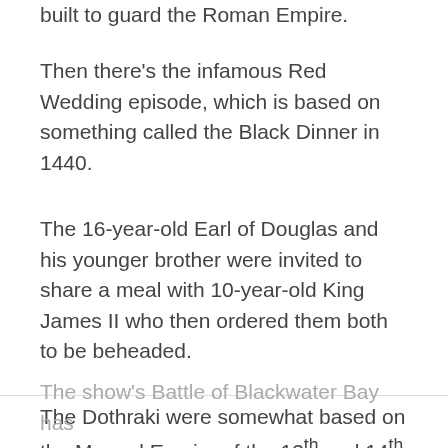built to guard the Roman Empire.
Then there's the infamous Red Wedding episode, which is based on something called the Black Dinner in 1440.
The 16-year-old Earl of Douglas and his younger brother were invited to share a meal with 10-year-old King James II who then ordered them both to be beheaded.
The Dothraki were somewhat based on the Mongol Empire of the 13th and 14th centuries.
The show's Battle of Blackwater Bay has